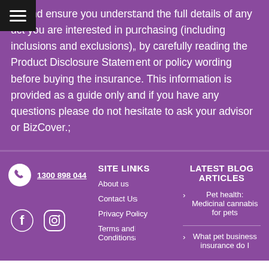you and ensure you understand the full details of any product you are interested in purchasing (including inclusions and exclusions), by carefully reading the Product Disclosure Statement or policy wording before buying the insurance. This information is provided as a guide only and if you have any questions please do not hesitate to ask your advisor or BizCover.;
1300 898 044
SITE LINKS
About us
Contact Us
Privacy Policy
Terms and Conditions
LATEST BLOG ARTICLES
Pet health: Medicinal cannabis for pets
What pet business insurance do I